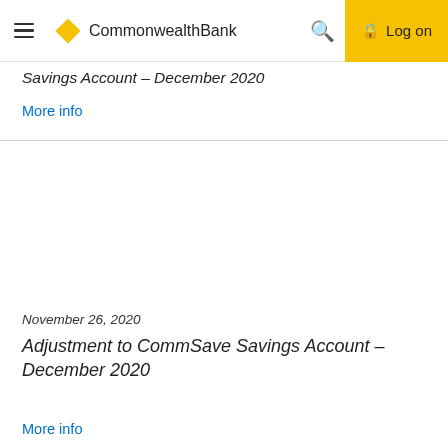Commonwealth Bank — Log on
Savings Account – December 2020
More info
November 26, 2020
Adjustment to CommSave Savings Account – December 2020
More info